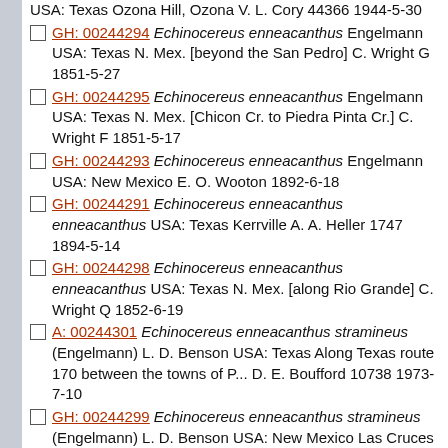USA: Texas Ozona Hill, Ozona V. L. Cory 44366 1944-5-30
GH: 00244294 Echinocereus enneacanthus Engelmann USA: Texas N. Mex. [beyond the San Pedro] C. Wright G 1851-5-27
GH: 00244295 Echinocereus enneacanthus Engelmann USA: Texas N. Mex. [Chicon Cr. to Piedra Pinta Cr.] C. Wright F 1851-5-17
GH: 00244293 Echinocereus enneacanthus Engelmann USA: New Mexico E. O. Wooton 1892-6-18
GH: 00244291 Echinocereus enneacanthus enneacanthus USA: Texas Kerrville A. A. Heller 1747 1894-5-14
GH: 00244298 Echinocereus enneacanthus enneacanthus USA: Texas N. Mex. [along Rio Grande] C. Wright Q 1852-6-19
A: 00244301 Echinocereus enneacanthus stramineus (Engelmann) L. D. Benson USA: Texas Along Texas route 170 between the towns of P... D. E. Boufford 10738 1973-7-10
GH: 00244299 Echinocereus enneacanthus stramineus (Engelmann) L. D. Benson USA: New Mexico Las Cruces E. O. Wooton 1892-5
GH: 00254825 Echinocereus fendleri (Engelmann) Sencke